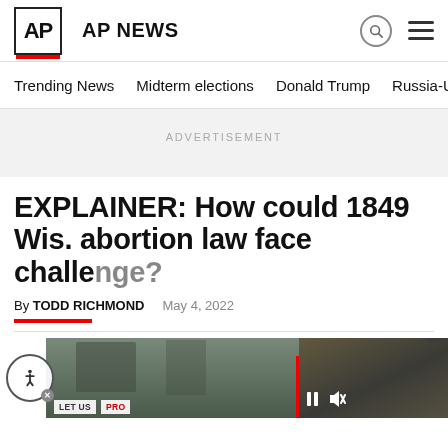AP NEWS
Trending News    Midterm elections    Donald Trump    Russia-Ukr
ADVERTISEMENT
EXPLAINER: How could 1849 Wis. abortion law face challenge?
By TODD RICHMOND    May 4, 2022
[Figure (photo): Protest photo showing signs including LET US and PRO text, with floating video overlay of soldiers crouching on a street]